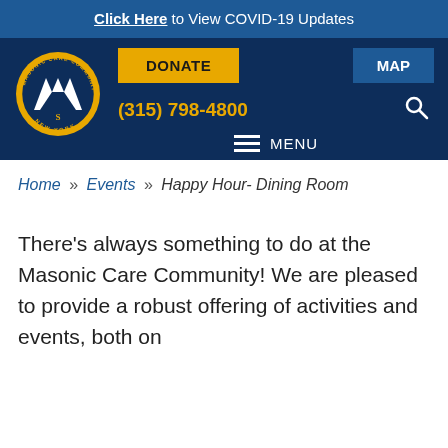Click Here to View COVID-19 Updates
[Figure (logo): Masonic Care Community New York circular logo with gold border and white M symbol]
DONATE
MAP
(315) 798-4800
MENU
Home » Events » Happy Hour- Dining Room
There's always something to do at the Masonic Care Community! We are pleased to provide a robust offering of activities and events, both on